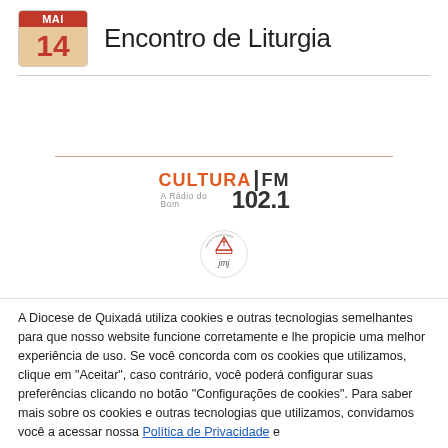14 Mai — Encontro de Liturgia
[Figure (logo): Cultura FM 102.1 - A Rádio do Bem logo]
[Figure (logo): JMJ - Jovens e Maternidade logo with bishop hat symbol]
A Diocese de Quixadá utiliza cookies e outras tecnologias semelhantes para que nosso website funcione corretamente e lhe propicie uma melhor experiência de uso. Se você concorda com os cookies que utilizamos, clique em "Aceitar", caso contrário, você poderá configurar suas preferências clicando no botão "Configurações de cookies". Para saber mais sobre os cookies e outras tecnologias que utilizamos, convidamos você a acessar nossa Política de Privacidade e